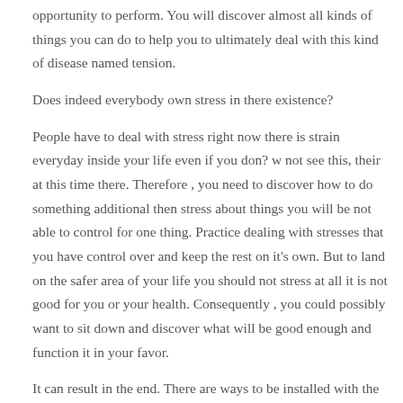opportunity to perform. You will discover almost all kinds of things you can do to help you to ultimately deal with this kind of disease named tension.
Does indeed everybody own stress in there existence?
People have to deal with stress right now there is strain everyday inside your life even if you don? w not see this, their at this time there. Therefore , you need to discover how to do something additional then stress about things you will be not able to control for one thing. Practice dealing with stresses that you have control over and keep the rest on it's own. But to land on the safer area of your life you should not stress at all it is not good for you or your health. Consequently , you could possibly want to sit down and discover what will be good enough and function it in your favor.
It can result in the end. There are ways to be installed with the organizations in your community like in the hospital has groupings that will help you. What you just have to do is always to find up the phone and call up someone and something good might emerge from [REDACTED]h